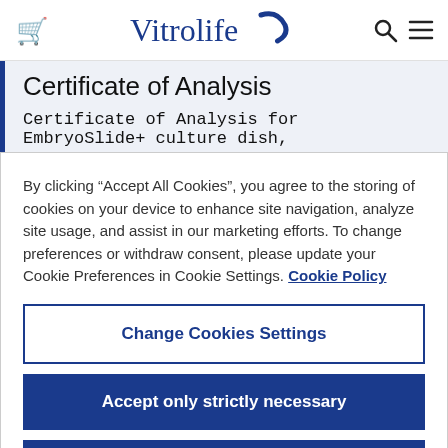Vitrolife [logo] [cart] [search] [menu]
Certificate of Analysis
Certificate of Analysis for EmbryoSlide+ culture dish,
By clicking “Accept All Cookies”, you agree to the storing of cookies on your device to enhance site navigation, analyze site usage, and assist in our marketing efforts. To change preferences or withdraw consent, please update your Cookie Preferences in Cookie Settings. Cookie Policy
Change Cookies Settings
Accept only strictly necessary
Accept All Cookies